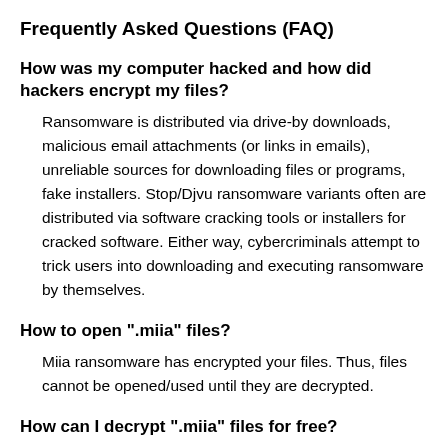Frequently Asked Questions (FAQ)
How was my computer hacked and how did hackers encrypt my files?
Ransomware is distributed via drive-by downloads, malicious email attachments (or links in emails), unreliable sources for downloading files or programs, fake installers. Stop/Djvu ransomware variants often are distributed via software cracking tools or installers for cracked software. Either way, cybercriminals attempt to trick users into downloading and executing ransomware by themselves.
How to open ".miia" files?
Miia ransomware has encrypted your files. Thus, files cannot be opened/used until they are decrypted.
How can I decrypt ".miia" files for free?
A big part of Stop/Djvu ransomware variants uses an